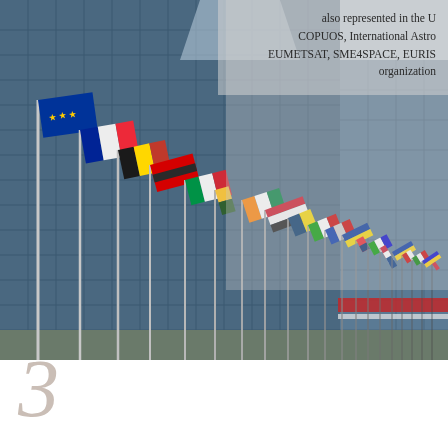[Figure (photo): Photo of a large glass building (European Parliament) with many national flags on flagpoles in the foreground, taken from a low angle. Flags include EU, French, Belgian, and many other European and world flags.]
also represented in the U COPUOS, International Astro EUMETSAT, SME4SPACE, EURIS organization
3